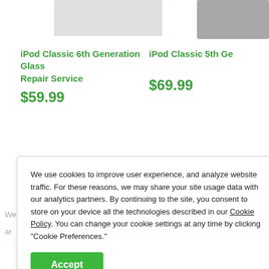[Figure (photo): Product image placeholder for iPod Classic 6th Generation - light gray rectangle]
[Figure (photo): Product image placeholder for iPod Classic 5th Generation - dark gray rectangle, partially visible on right edge]
iPod Classic 6th Generation Glass Repair Service
$59.99
iPod Classic 5th Ge...
$69.99
We use cookies to improve user experience, and analyze website traffic. For these reasons, we may share your site usage data with our analytics partners. By continuing to the site, you consent to store on your device all the technologies described in our Cookie Policy. You can change your cookie settings at any time by clicking "Cookie Preferences."
Accept